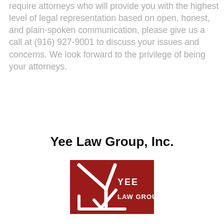require attorneys who will provide you with the highest level of legal representation based on open, honest, and plain-spoken communication, please give us a call at (916) 927-9001 to discuss your issues and concerns. We look forward to the privilege of being your attorneys.
Yee Law Group, Inc.
[Figure (logo): Yee Law Group logo: red rectangular background with white stylized Y and checkmark shapes, text 'YEE LAW GROUP' in white]